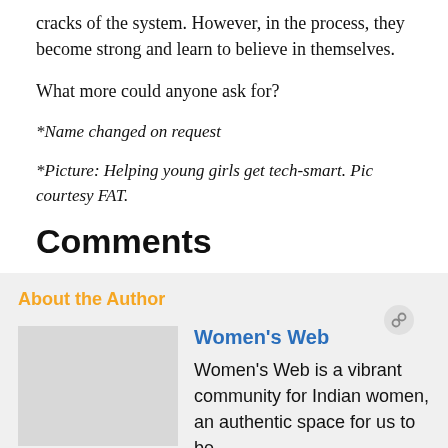cracks of the system. However, in the process, they become strong and learn to believe in themselves.
What more could anyone ask for?
*Name changed on request
*Picture: Helping young girls get tech-smart. Pic courtesy FAT.
Comments
About the Author
Women's Web
Women's Web is a vibrant community for Indian women, an authentic space for us to be...